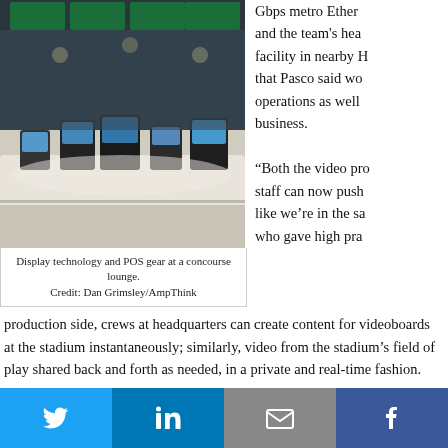[Figure (photo): Display technology and POS gear at a concourse lounge showing monitors and counter equipment.]
Display technology and POS gear at a concourse lounge.
Credit: Dan Grimsley/AmpThink
Gbps metro Ether and the team's hea facility in nearby H that Pasco said wo operations as well business.
“Both the video pro staff can now push like we’re in the sa who gave high pra production side, crews at headquarters can create content for videoboards at the stadium instantaneously; similarly, video from the stadium’s field of play shared back and forth as needed, in a private and real-time fashion.
West said Cox, which also provides game-day network support and a “NO knows that the data demands of the big-time events that will likely be held at keep increasing, and it built its systems to support that growth.
“The most demanding events are things like CES, and NFL games,” West s the future, to hold up for all those events.”